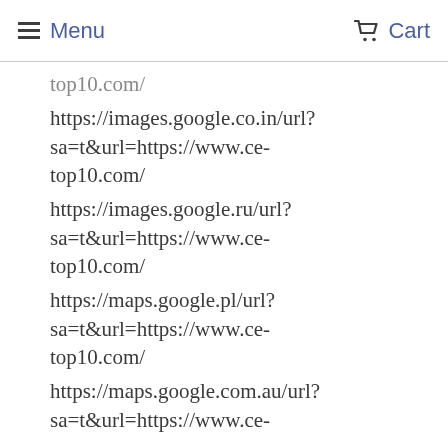Menu  Cart
top10.com/
https://images.google.co.in/url?sa=t&url=https://www.ce-top10.com/
https://images.google.ru/url?sa=t&url=https://www.ce-top10.com/
https://maps.google.pl/url?sa=t&url=https://www.ce-top10.com/
https://maps.google.com.au/url?sa=t&url=https://www.ce-